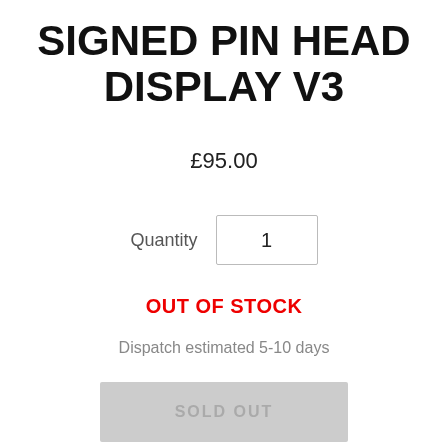SIGNED PIN HEAD DISPLAY V3
£95.00
Quantity 1
OUT OF STOCK
Dispatch estimated 5-10 days
SOLD OUT